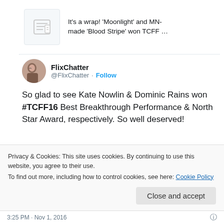It's a wrap! 'Moonlight' and MN-made 'Blood Stripe' won TCFF …
FlixChatter @FlixChatter · Follow
So glad to see Kate Nowlin & Dominic Rains won #TCFF16 Best Breakthrough Performance & North Star Award, respectively. So well deserved!
[Figure (photo): Two side-by-side photos of people at an event with red decorative background. Left photo shows a woman with red hair and a bald man with glasses. Right photo shows a dark-haired man and a woman.]
Privacy & Cookies: This site uses cookies. By continuing to use this website, you agree to their use.
To find out more, including how to control cookies, see here: Cookie Policy
Close and accept
3:25 PM · Nov 1, 2016